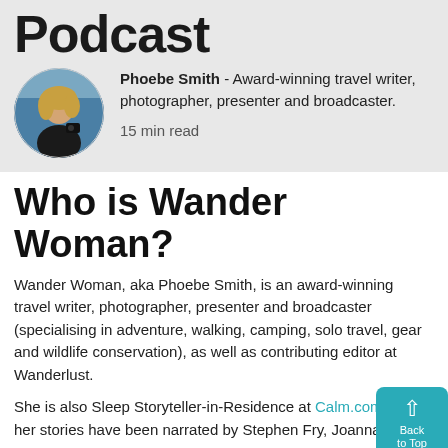Podcast
[Figure (photo): Circular profile photo of Phoebe Smith, a woman with blonde hair holding camera equipment outdoors against a blue sky background.]
Phoebe Smith - Award-winning travel writer, photographer, presenter and broadcaster.
15 min read
Who is Wander Woman?
Wander Woman, aka Phoebe Smith, is an award-winning travel writer, photographer, presenter and broadcaster (specialising in adventure, walking, camping, solo travel, gear and wildlife conservation), as well as contributing editor at Wanderlust.
She is also Sleep Storyteller-in-Residence at Calm.com where her stories have been narrated by Stephen Fry, Joanna